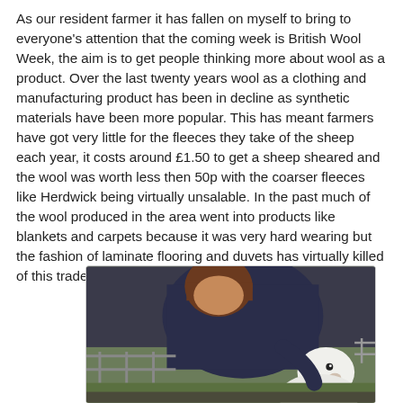As our resident farmer it has fallen on myself to bring to everyone's attention that the coming week is British Wool Week, the aim is to get people thinking more about wool as a product. Over the last twenty years wool as a clothing and manufacturing product has been in decline as synthetic materials have been more popular. This has meant farmers have got very little for the fleeces they take of the sheep each year, it costs around £1.50 to get a sheep sheared and the wool was worth less then 50p with the coarser fleeces like Herdwick being virtually unsalable. In the past much of the wool produced in the area went into products like blankets and carpets because it was very hard wearing but the fashion of laminate flooring and duvets has virtually killed of this trade.
[Figure (photo): A person holding a white sheep/lamb, with farm fencing visible in the background. The person is wearing a dark navy top and has short brown hair. The sheep is white and appears young.]